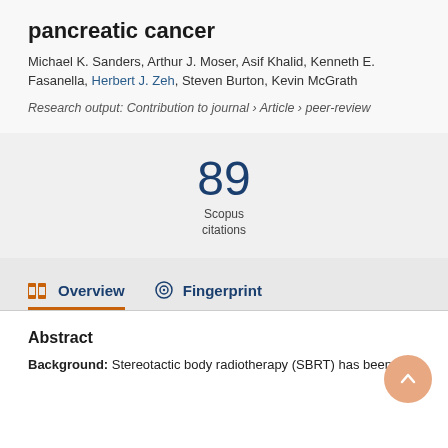pancreatic cancer
Michael K. Sanders, Arthur J. Moser, Asif Khalid, Kenneth E. Fasanella, Herbert J. Zeh, Steven Burton, Kevin McGrath
Research output: Contribution to journal › Article › peer-review
89 Scopus citations
Overview
Fingerprint
Abstract
Background: Stereotactic body radiotherapy (SBRT) has been